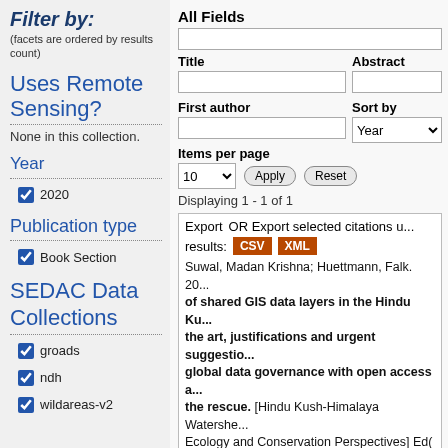Filter by:
(facets are ordered by results count)
Uses Remote Sensing?
None in this collection.
Year
2020 (checked)
Publication type
Book Section (checked)
SEDAC Data Collections
groads (checked)
ndh (checked)
wildareas-v2 (checked)
All Fields
Title
Abstract
First author
Sort by
Items per page
Displaying 1 - 1 of 1
Export   OR Export selected citations using: results: CSV XML
Suwal, Madan Krishna; Huettmann, Falk. 20... of shared GIS data layers in the Hindu Ku... the art, justifications and urgent suggestio... global data governance with open access a... the rescue. [Hindu Kush-Himalaya Watershe... Ecology and Conservation Perspectives] Ed(... Huettmann, Falk, pp: [21-[6]. DOI: http...